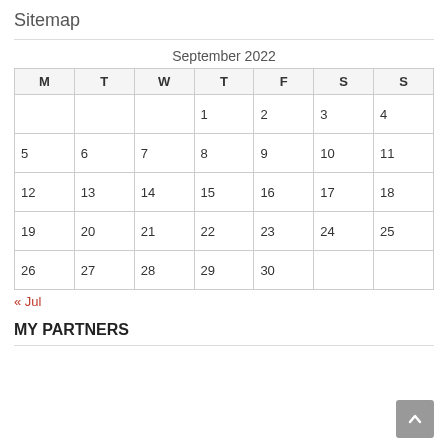Sitemap
| M | T | W | T | F | S | S |
| --- | --- | --- | --- | --- | --- | --- |
|  |  |  | 1 | 2 | 3 | 4 |
| 5 | 6 | 7 | 8 | 9 | 10 | 11 |
| 12 | 13 | 14 | 15 | 16 | 17 | 18 |
| 19 | 20 | 21 | 22 | 23 | 24 | 25 |
| 26 | 27 | 28 | 29 | 30 |  |  |
September 2022
« Jul
MY PARTNERS